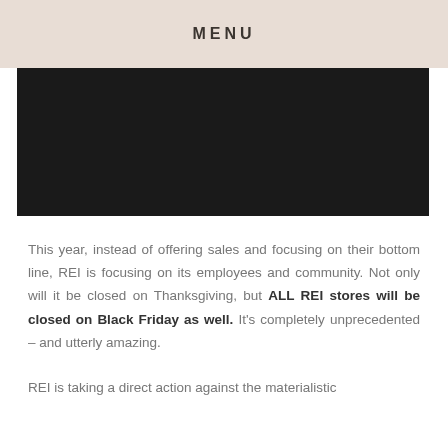MENU
[Figure (photo): Dark/black rectangular image area]
This year, instead of offering sales and focusing on their bottom line, REI is focusing on its employees and community. Not only will it be closed on Thanksgiving, but ALL REI stores will be closed on Black Friday as well. It's completely unprecedented – and utterly amazing.
REI is taking a direct action against the materialistic